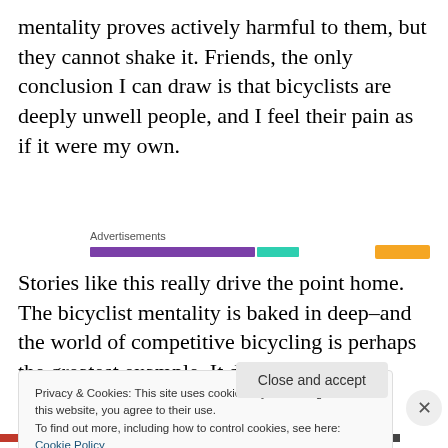mentality proves actively harmful to them, but they cannot shake it. Friends, the only conclusion I can draw is that bicyclists are deeply unwell people, and I feel their pain as if it were my own.
[Figure (other): Advertisements bar with colored strips: purple, teal, and orange segments]
Stories like this really drive the point home. The bicyclist mentality is baked in deep–and the world of competitive bicycling is perhaps the greatest example. It doesn't
Privacy & Cookies: This site uses cookies. By continuing to use this website, you agree to their use.
To find out more, including how to control cookies, see here: Cookie Policy
Close and accept